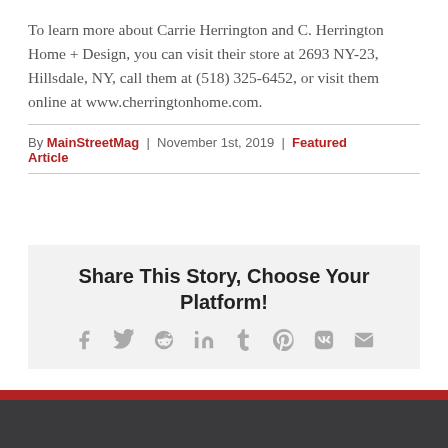To learn more about Carrie Herrington and C. Herrington Home + Design, you can visit their store at 2693 NY-23, Hillsdale, NY, call them at (518) 325-6452, or visit them online at www.cherringtonhome.com.
By MainStreetMag | November 1st, 2019 | Featured Article
Share This Story, Choose Your Platform!